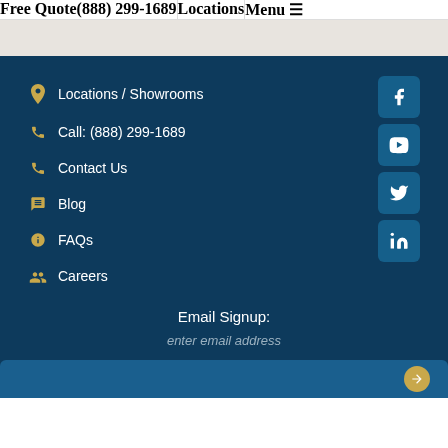Free Quote | (888) 299-1689 | Locations | Menu
Locations / Showrooms
Call: (888) 299-1689
Contact Us
Blog
FAQs
Careers
[Figure (other): Social media icons: Facebook, YouTube, Twitter, LinkedIn]
Email Signup:
enter email address